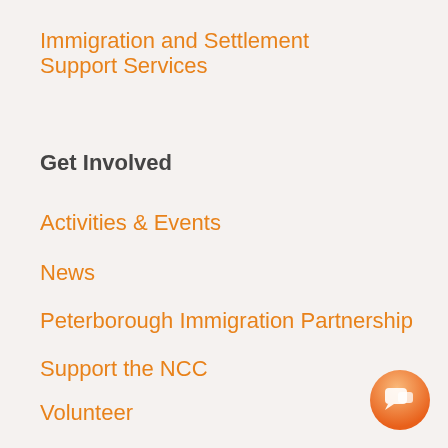Immigration and Settlement Support Services
Get Involved
Activities & Events
News
Peterborough Immigration Partnership
Support the NCC
Volunteer
[Figure (illustration): Orange gradient circular chat/message button icon in the bottom-right corner]